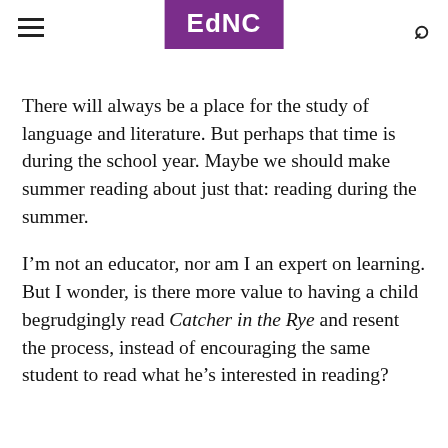EdNC
There will always be a place for the study of language and literature. But perhaps that time is during the school year. Maybe we should make summer reading about just that: reading during the summer.
I’m not an educator, nor am I an expert on learning. But I wonder, is there more value to having a child begrudgingly read Catcher in the Rye and resent the process, instead of encouraging the same student to read what he’s interested in reading?